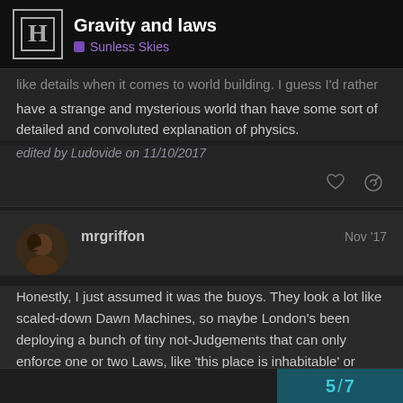Gravity and laws — Sunless Skies
...like details when it comes to world building. I guess I'd rather have a strange and mysterious world than have some sort of detailed and convoluted explanation of physics.
edited by Ludovide on 11/10/2017
mrgriffon — Nov '17
Honestly, I just assumed it was the buoys. They look a lot like scaled-down Dawn Machines, so maybe London's been deploying a bunch of tiny not-Judgements that can only enforce one or two Laws, like 'this place is inhabitable' or something.
5 / 7